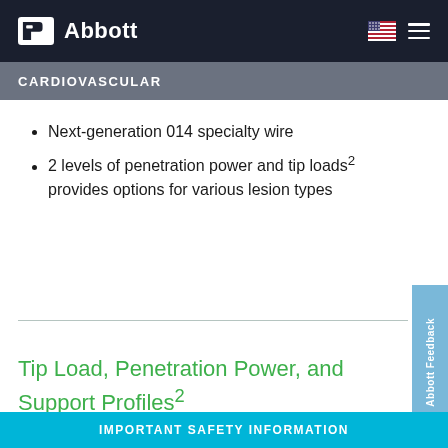Abbott | Cardiovascular
CARDIOVASCULAR
Next-generation 014 specialty wire
2 levels of penetration power and tip loads² provides options for various lesion types
Tip Load, Penetration Power, and Support Profiles²
IMPORTANT SAFETY INFORMATION